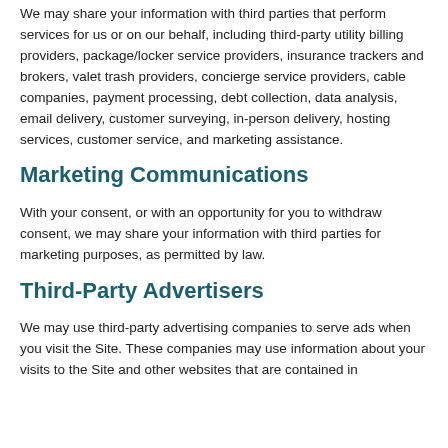We may share your information with third parties that perform services for us or on our behalf, including third-party utility billing providers, package/locker service providers, insurance trackers and brokers, valet trash providers, concierge service providers, cable companies, payment processing, debt collection, data analysis, email delivery, customer surveying, in-person delivery, hosting services, customer service, and marketing assistance.
Marketing Communications
With your consent, or with an opportunity for you to withdraw consent, we may share your information with third parties for marketing purposes, as permitted by law.
Third-Party Advertisers
We may use third-party advertising companies to serve ads when you visit the Site. These companies may use information about your visits to the Site and other websites that are contained in...